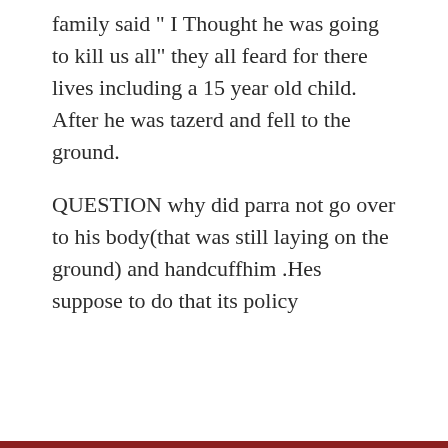family said " I Thought he was going to kill us all" they all feard for there lives including a 15 year old child. After he was tazerd and fell to the ground.
QUESTION why did parra not go over to his body(that was still laying on the ground) and handcuffhim .Hes suppose to do that its policy